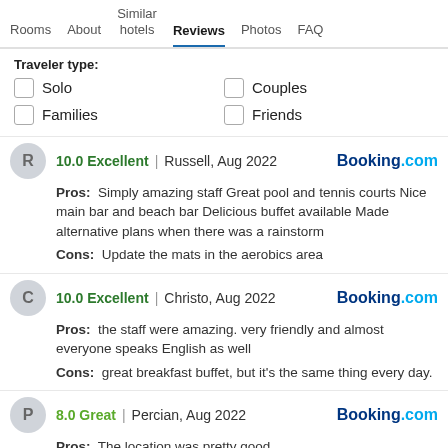Rooms | About | Similar hotels | Reviews | Photos | FAQ
Traveler type:
Solo
Couples
Families
Friends
10.0 Excellent | Russell, Aug 2022 — Booking.com
Pros: Simply amazing staff Great pool and tennis courts Nice main bar and beach bar Delicious buffet available Made alternative plans when there was a rainstorm
Cons: Update the mats in the aerobics area
10.0 Excellent | Christo, Aug 2022 — Booking.com
Pros: the staff were amazing. very friendly and almost everyone speaks English as well
Cons: great breakfast buffet, but it's the same thing every day.
8.0 Great | Percian, Aug 2022 — Booking.com
Pros: The location was pretty good.